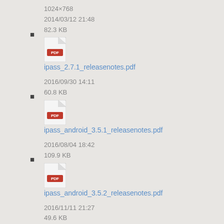1024×768
2014/03/12 21:48
82.3 KB
ipass_2.7.1_releasenotes.pdf
2016/09/30 14:11
60.8 KB
ipass_android_3.5.1_releasenotes.pdf
2016/08/04 18:42
109.9 KB
ipass_android_3.5.2_releasenotes.pdf
2016/11/11 21:27
49.6 KB